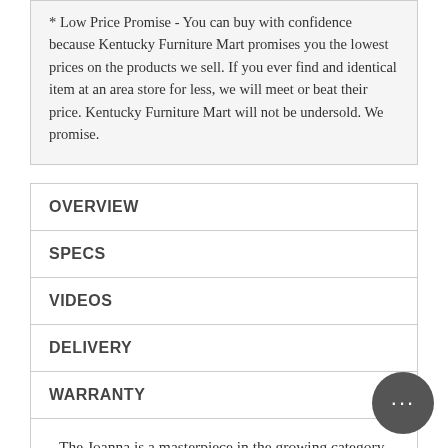* Low Price Promise - You can buy with confidence because Kentucky Furniture Mart promises you the lowest prices on the products we sell. If you ever find and identical item at an area store for less, we will meet or beat their price. Kentucky Furniture Mart will not be undersold. We promise.
OVERVIEW
SPECS
VIDEOS
DELIVERY
WARRANTY
The Joanna is a masterpiece in the growing category of high-leg recliners. Working closely with mechansim supplier and industry leader Leggett & Platt, we have